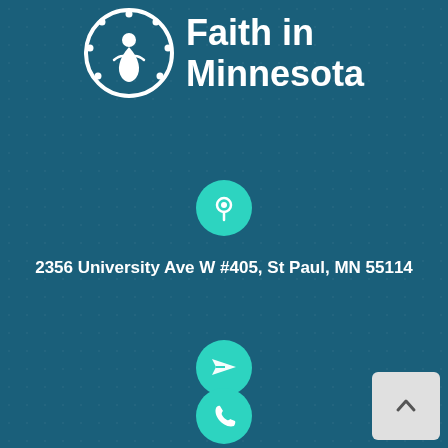[Figure (logo): Faith in Minnesota logo with circular emblem and text]
[Figure (illustration): Teal circle with location pin icon]
2356 University Ave W #405, St Paul, MN 55114
[Figure (illustration): Teal circle with paper plane / send icon]
[Figure (illustration): Teal circle with phone icon]
[Figure (illustration): Back to top button with upward chevron]